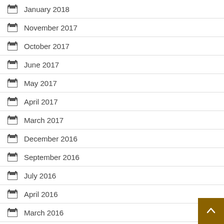January 2018
November 2017
October 2017
June 2017
May 2017
April 2017
March 2017
December 2016
September 2016
July 2016
April 2016
March 2016
July 2015